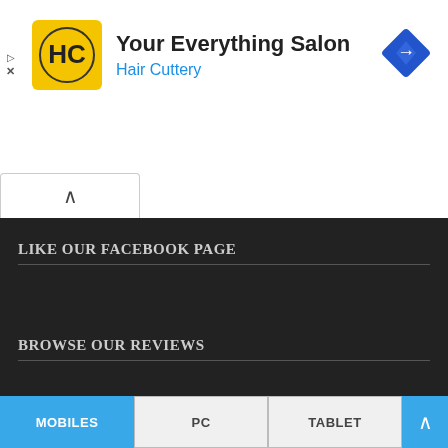[Figure (logo): Hair Cuttery advertisement banner with HC yellow logo, title 'Your Everything Salon', subtitle 'Hair Cuttery', and blue diamond navigation icon]
LIKE OUR FACEBOOK PAGE
BROWSE OUR REVIEWS
MOBILES | PC | TABLET